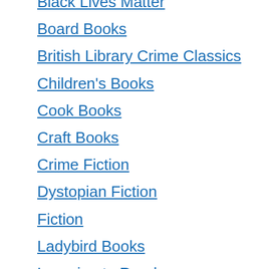Black Lives Matter
Board Books
British Library Crime Classics
Children's Books
Cook Books
Craft Books
Crime Fiction
Dystopian Fiction
Fiction
Ladybird Books
Learning to Read
Non Fiction
Parenting Books
Picture Books